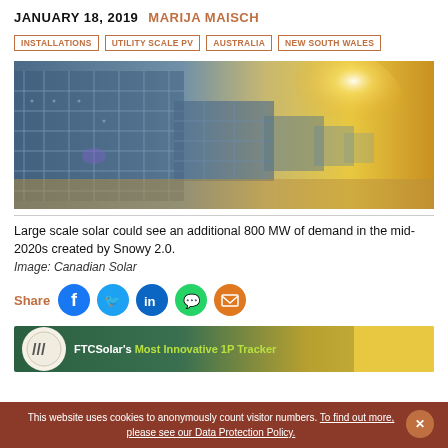JANUARY 18, 2019  MARIJA MAISCH
INSTALLATIONS
UTILITY SCALE PV
AUSTRALIA
NEW SOUTH WALES
[Figure (photo): Large solar panel array photographed from ground level, panels on left in blue/grey tones, bright sun glare on right with warm golden light, desert landscape setting]
Large scale solar could see an additional 800 MW of demand in the mid-2020s created by Snowy 2.0.
Image: Canadian Solar
Share
[Figure (infographic): Social share buttons: Facebook (blue circle), Twitter (blue circle), LinkedIn (blue circle), WhatsApp (green circle), Email (orange circle)]
[Figure (infographic): FTCSolar advertisement banner: FTCSolar's Most Innovative 1P Tracker, dark green background with yellow accent]
This website uses cookies to anonymously count visitor numbers. To find out more, please see our Data Protection Policy.